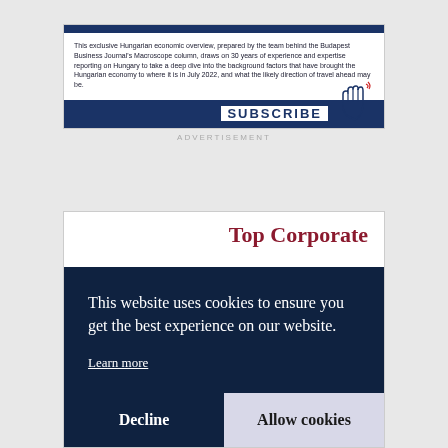[Figure (screenshot): Advertisement card with dark blue header bar, descriptive text about a Hungarian economic overview from Budapest Business Journal's Macroscope column, and a dark blue SUBSCRIBE bar with a hand/pointer icon.]
ADVERTISEMENT
[Figure (screenshot): Partial view of a 'Top Corporate' publication card with dark red serif title text, partially obscured by cookie consent banner.]
This website uses cookies to ensure you get the best experience on our website.
Learn more
Decline
Allow cookies